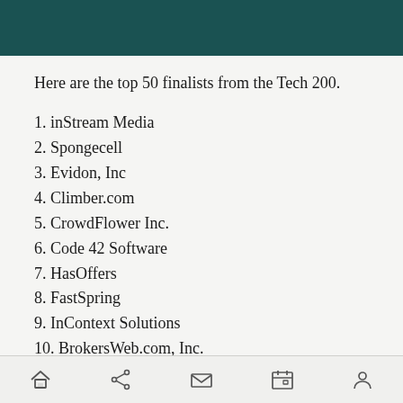Here are the top 50 finalists from the Tech 200.
1. inStream Media
2. Spongecell
3. Evidon, Inc
4. Climber.com
5. CrowdFlower Inc.
6. Code 42 Software
7. HasOffers
8. FastSpring
9. InContext Solutions
10. BrokersWeb.com, Inc.
11. Pace Computer Solutions Inc.